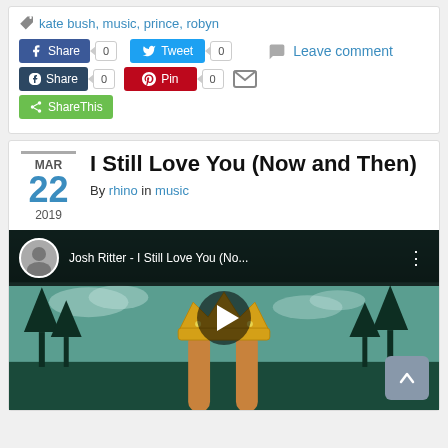kate bush, music, prince, robyn
[Figure (screenshot): Social sharing buttons row: Facebook Share (0), Twitter Tweet (0), Leave comment]
[Figure (screenshot): Social sharing buttons row 2: Tumblr Share (0), Pinterest Pin (0), Email icon]
[Figure (screenshot): ShareThis button]
I Still Love You (Now and Then)
By rhino in music
MAR 22 2019
[Figure (screenshot): YouTube video embed showing Josh Ritter - I Still Love You (No... with album artwork featuring two hands holding up a golden crown against a teal sky with trees and water. Play button visible in the center.]